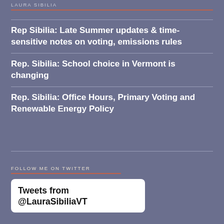LAURA SIBILIA
Rep Sibilia: Late Summer updates & time-sensitive notes on voting, emissions rules
Rep. Sibilia: School choice in Vermont is changing
Rep. Sibilia: Office Hours, Primary Voting and Renewable Energy Policy
FOLLOW ME ON TWITTER
Tweets from @LauraSibiliaVT